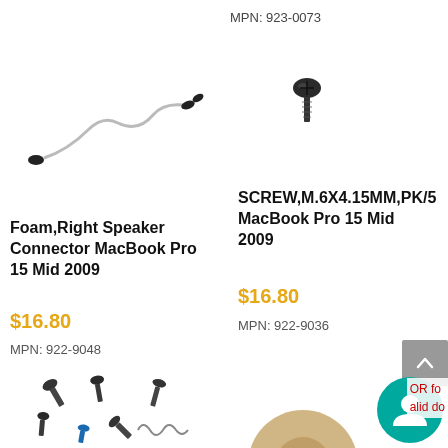MPN: 923-0073
[Figure (photo): Foam right speaker connector cable for MacBook Pro 15 Mid 2009 — a bent wire/foam connector piece on white background]
[Figure (photo): Small screw M.6X4.15MM PK/5 for MacBook Pro 15 Mid 2009 on white background]
Foam,Right Speaker Connector MacBook Pro 15 Mid 2009
$16.80
MPN: 922-9048
SCREW,M.6X4.15MM,PK/5 MacBook Pro 15 Mid 2009
$16.80
MPN: 922-9036
[Figure (photo): Various small screws and bolts for MacBook parts on white background]
[Figure (photo): Partial product image — bottom right area]
OR fo
alid do